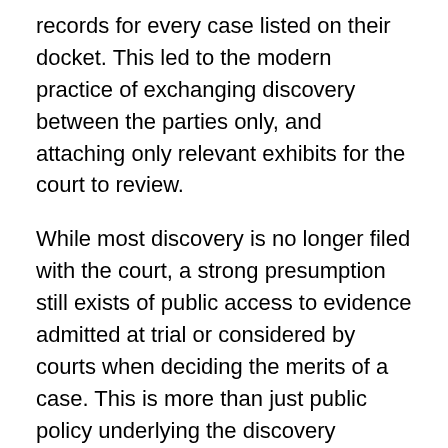records for every case listed on their docket. This led to the modern practice of exchanging discovery between the parties only, and attaching only relevant exhibits for the court to review.
While most discovery is no longer filed with the court, a strong presumption still exists of public access to evidence admitted at trial or considered by courts when deciding the merits of a case. This is more than just public policy underlying the discovery process; it falls within the ambit of First Amendment rights, as discussed in Seattle Times v. Rhinehart, 467 U.S. 20 (1984). There, the leader of a religious group allegedly engaged in scandalous and sensational practices sued the Seattle Times for its coverage of his church. During discovery, the Seattle Times sought